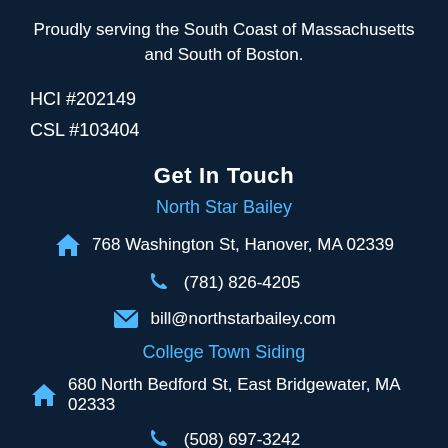Proudly serving the South Coast of Massachusetts and South of Boston.
HCI #202149
CSL #103404
Get In Touch
North Star Bailey
768 Washington St, Hanover, MA 02339
(781) 826-4205
bill@northstarbailey.com
College Town Siding
680 North Bedford St, East Bridgewater, MA 02333
(508) 697-3242